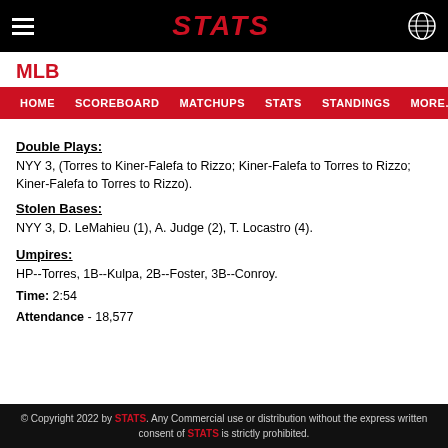STATS
MLB
HOME  SCOREBOARD  MATCHUPS  STATS  STANDINGS  MORE...
Double Plays:
NYY 3, (Torres to Kiner-Falefa to Rizzo; Kiner-Falefa to Torres to Rizzo; Kiner-Falefa to Torres to Rizzo).
Stolen Bases:
NYY 3, D. LeMahieu (1), A. Judge (2), T. Locastro (4).
Umpires:
HP--Torres, 1B--Kulpa, 2B--Foster, 3B--Conroy.
Time: 2:54
Attendance - 18,577
© Copyright 2022 by STATS. Any Commercial use or distribution without the express written consent of STATS is strictly prohibited.